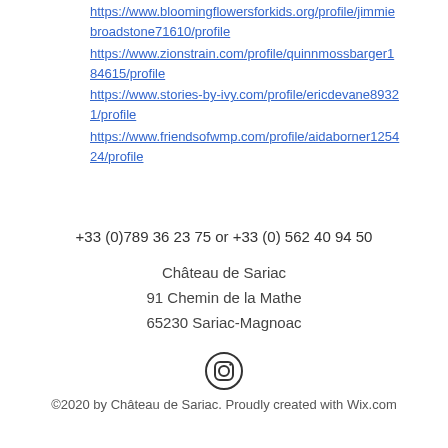https://www.bloomingflowersforkids.org/profile/jimmiebroadstone71610/profile https://www.zionstrain.com/profile/quinnmossbarger184615/profile https://www.stories-by-ivy.com/profile/ericdevane89321/profile https://www.friendsofwmp.com/profile/aidaborner125424/profile
+33 (0)789 36 23 75 or +33 (0) 562 40 94 50
Château de Sariac
91 Chemin de la Mathe
65230 Sariac-Magnoac
[Figure (illustration): Instagram icon: circle with a rounded-square camera outline inside]
©2020 by Château de Sariac. Proudly created with Wix.com